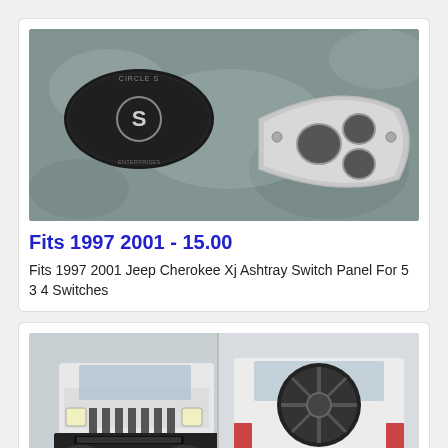[Figure (photo): Product photo of a metal ashtray switch panel for Jeep Cherokee XJ, along with a circular brand logo/badge on a dark metallic background.]
Fits 1997 2001 - 15.00
Fits 1997 2001 Jeep Cherokee Xj Ashtray Switch Panel For 5 3 4 Switches
[Figure (photo): Two photos of a Jeep Cherokee XJ: front view showing a black bumper with light bar, and rear view showing a spare tire carrier. A third partial image is visible at the bottom.]